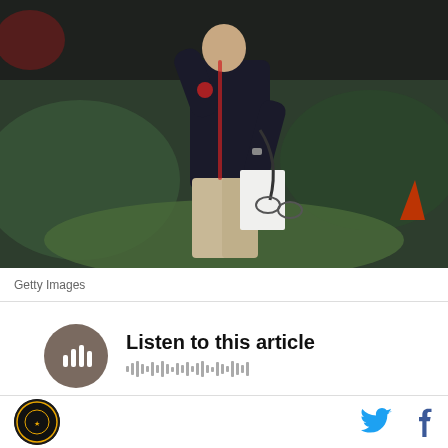[Figure (photo): A football coach in a dark jacket and khaki pants stands on the sideline at night, holding papers and headphone cord, appearing to gesture or signal. Blurred crowd and field in background.]
Getty Images
[Figure (other): Audio player widget with circular dark play button icon showing sound bars, with title 'Listen to this article' and waveform illustration below]
[Figure (logo): Circular dark site logo on bottom left, Twitter bird icon and Facebook f icon on bottom right]